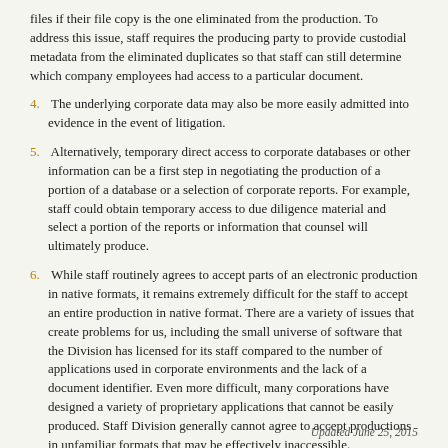files if their file copy is the one eliminated from the production. To address this issue, staff requires the producing party to provide custodial metadata from the eliminated duplicates so that staff can still determine which company employees had access to a particular document.
4. The underlying corporate data may also be more easily admitted into evidence in the event of litigation.
5. Alternatively, temporary direct access to corporate databases or other information can be a first step in negotiating the production of a portion of a database or a selection of corporate reports. For example, staff could obtain temporary access to due diligence material and select a portion of the reports or information that counsel will ultimately produce.
6. While staff routinely agrees to accept parts of an electronic production in native formats, it remains extremely difficult for the staff to accept an entire production in native format. There are a variety of issues that create problems for us, including the small universe of software that the Division has licensed for its staff compared to the number of applications used in corporate environments and the lack of a document identifier. Even more difficult, many corporations have designed a variety of proprietary applications that cannot be easily produced. Staff Division generally cannot agree to accept productions in unfamiliar formats that may be effectively inaccessible.
Updated June 25, 2015